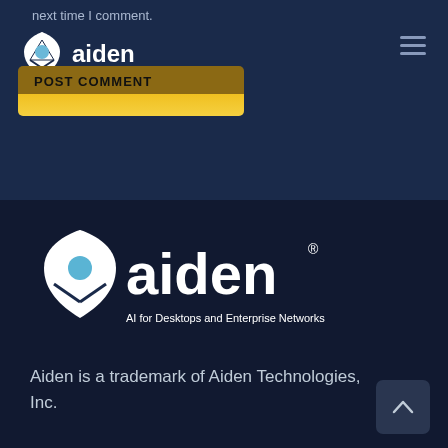next time I comment.
[Figure (logo): Aiden logo with shield/gem icon and text 'aiden' in white on dark blue background, top navigation area]
[Figure (logo): POST COMMENT button with golden/yellow background]
[Figure (logo): Aiden logo large white version with tagline 'AI for Desktops and Enterprise Networks' and registered trademark symbol on dark navy background]
Aiden is a trademark of Aiden Technologies, Inc.